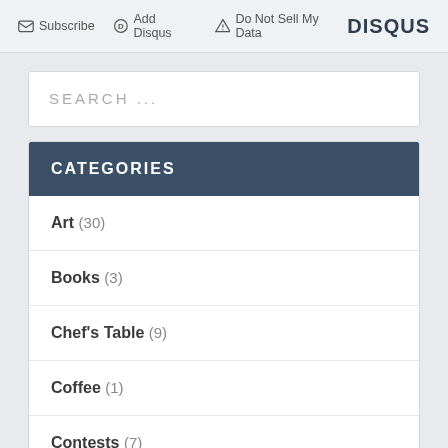Subscribe   Add Disqus   Do Not Sell My Data   DISQUS
SEARCH ...
CATEGORIES
Art (30)
Books (3)
Chef's Table (9)
Coffee (1)
Contests (7)